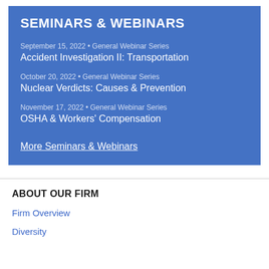SEMINARS & WEBINARS
September 15, 2022 • General Webinar Series
Accident Investigation II: Transportation
October 20, 2022 • General Webinar Series
Nuclear Verdicts: Causes & Prevention
November 17, 2022 • General Webinar Series
OSHA & Workers' Compensation
More Seminars & Webinars
ABOUT OUR FIRM
Firm Overview
Diversity